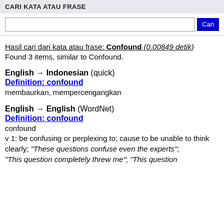CARI KATA ATAU FRASE
Hasil cari dari kata atau frase: Confound (0.00849 detik)
Found 3 items, similar to Confound.
English → Indonesian (quick)
Definition: confound
membaurkan, mempercengangkan
English → English (WordNet)
Definition: confound
confound
v 1: be confusing or perplexing to; cause to be unable to think
clearly; "These questions confuse even the experts"; "This question completely threw me"; "This question